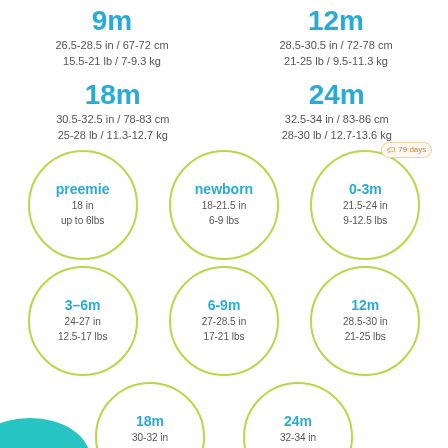[Figure (infographic): Baby clothing size guide infographic showing size labels with measurements in inches/cm and pounds/kg, arranged in circles with a yellow-green border for smaller sizes and plain text for larger sizes (9m, 12m, 18m, 24m at top).]
9m
26.5-28.5 in / 67-72 cm
15.5-21 lb / 7-9.3 kg
12m
28.5-30.5 in / 72-78 cm
21-25 lb / 9.5-11.3 kg
18m
30.5-32.5 in / 78-83 cm
25-28 lb / 11.3-12.7 kg
24m
32.5-34 in / 83-86 cm
28-30 lb / 12.7-13.6 kg
preemie
18 in
up to 6lbs
newborn
18-21.5 in
6-9 lbs
0-3m
21.5-24 in
9-12.5 lbs
3-6m
24-27 in
12.5-17 lbs
6-9m
27-28.5 in
17-21 lbs
12m
28.5-30 in
21-25 lbs
18m
30-32 in
25-28 lbs
24m
32-34 in
28-30 lbs